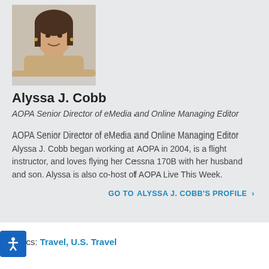[Figure (photo): Portrait photo of Alyssa J. Cobb, a woman with long dark hair, smiling, resting arms on a surface, wearing a beige top.]
Alyssa J. Cobb
AOPA Senior Director of eMedia and Online Managing Editor
AOPA Senior Director of eMedia and Online Managing Editor Alyssa J. Cobb began working at AOPA in 2004, is a flight instructor, and loves flying her Cessna 170B with her husband and son. Alyssa is also co-host of AOPA Live This Week.
GO TO ALYSSA J. COBB'S PROFILE ›
Topics: Travel, U.S. Travel